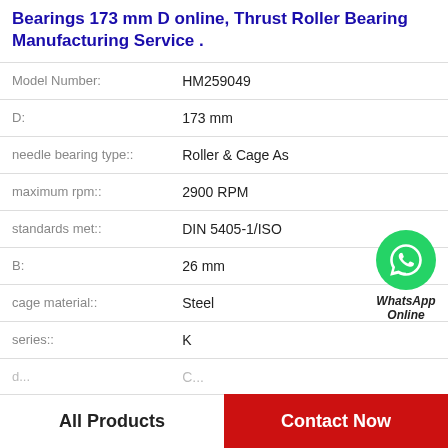Bearings 173 mm D online, Thrust Roller Bearing Manufacturing Service .
| Attribute | Value |
| --- | --- |
| Model Number: | HM259049 |
| D: | 173 mm |
| needle bearing type:: | Roller & Cage As |
| maximum rpm:: | 2900 RPM |
| standards met:: | DIN 5405-1/ISO |
| B: | 26 mm |
| cage material:: | Steel |
| series:: | K |
[Figure (logo): WhatsApp Online green circle phone icon with label 'WhatsApp Online']
All Products
Contact Now